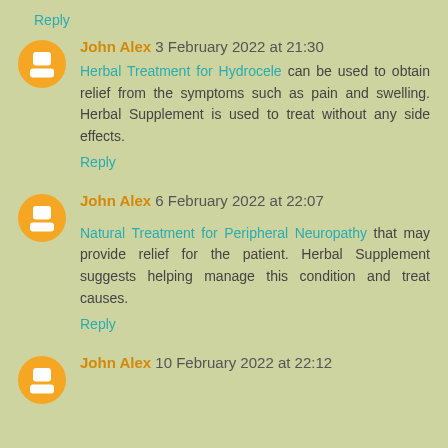Reply
John Alex 3 February 2022 at 21:30
Herbal Treatment for Hydrocele can be used to obtain relief from the symptoms such as pain and swelling. Herbal Supplement is used to treat without any side effects.
Reply
John Alex 6 February 2022 at 22:07
Natural Treatment for Peripheral Neuropathy that may provide relief for the patient. Herbal Supplement suggests helping manage this condition and treat causes.
Reply
John Alex 10 February 2022 at 22:12